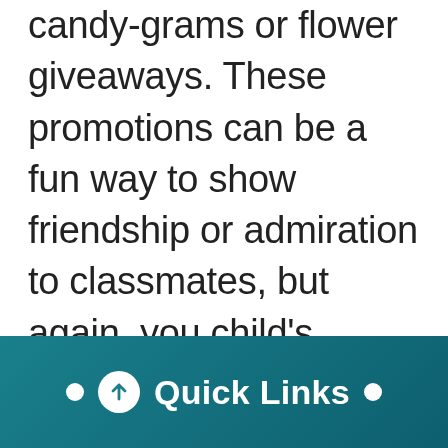candy-grams or flower giveaways. These promotions can be a fun way to show friendship or admiration to classmates, but again, you child's expectations may be high.
Quick Links